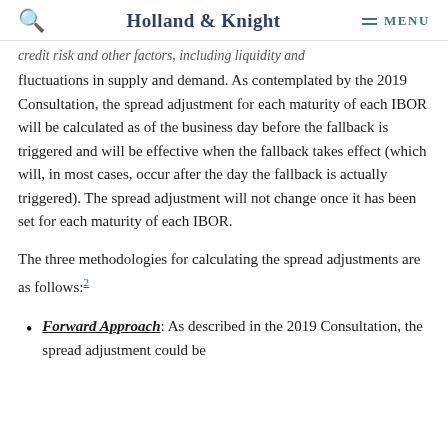Holland & Knight | MENU
credit risk and other factors, including liquidity and fluctuations in supply and demand. As contemplated by the 2019 Consultation, the spread adjustment for each maturity of each IBOR will be calculated as of the business day before the fallback is triggered and will be effective when the fallback takes effect (which will, in most cases, occur after the day the fallback is actually triggered). The spread adjustment will not change once it has been set for each maturity of each IBOR.
The three methodologies for calculating the spread adjustments are as follows:2
Forward Approach: As described in the 2019 Consultation, the spread adjustment could be